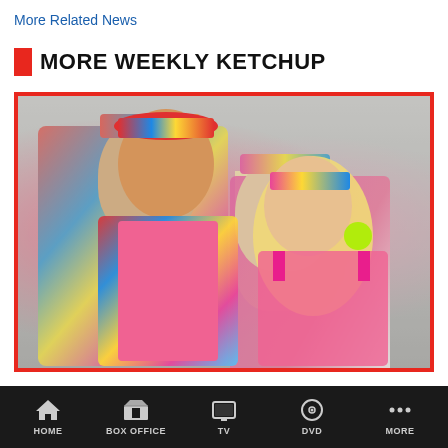More Related News
MORE WEEKLY KETCHUP
[Figure (photo): Ryan Gosling and Margot Robbie in colorful Barbie movie costumes — Gosling wearing a multicolor visor cap and patterned vest over pink shirt, Robbie wearing pink visor and pink outfit with neon earrings, standing in front of a distressed wall]
Ryan Gosling and Margot Robbie May Reunite for a
HOME  BOX OFFICE  TV  DVD  MORE